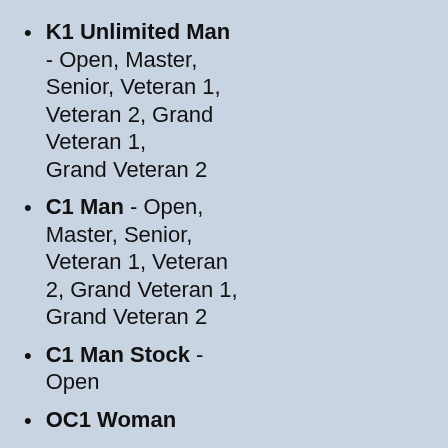K1 Unlimited Man - Open, Master, Senior, Veteran 1, Veteran 2, Grand Veteran 1, Grand Veteran 2
C1 Man - Open, Master, Senior, Veteran 1, Veteran 2, Grand Veteran 1, Grand Veteran 2
C1 Man Stock - Open
OC1 Woman
K2 Unlimited Women
Short Course (5.5 miles)
C1 Man Junior